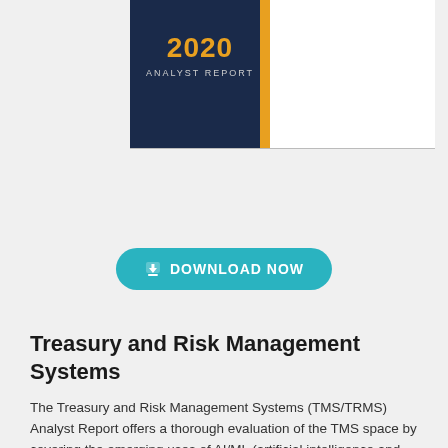[Figure (illustration): 2020 Analyst Report cover card showing dark navy background with year '2020' in gold and 'ANALYST REPORT' in grey, alongside bullet points listing benefits including 'Eliminate Manual Tasks' and 'Enhance Visibility & Control Over Cash']
[Figure (other): Download Now button with teal/cyan rounded pill shape and download icon]
Treasury and Risk Management Systems
The Treasury and Risk Management Systems (TMS/TRMS) Analyst Report offers a thorough evaluation of the TMS space by covering the emerging uses of AI/ML (artificial intelligence and machine learning), RPA (robotic process automation), and API (application programming interface) technologies in treasury; the place of a TMS/TRMS in business continuity planning and preparing for disruption and volatility; the leading